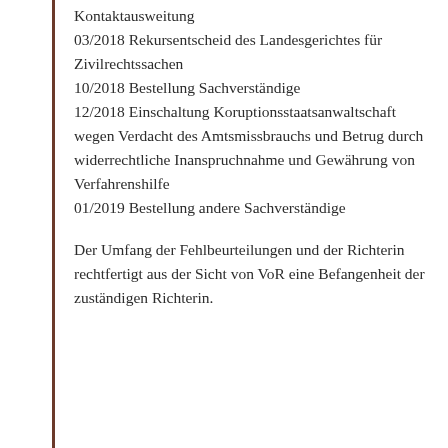Kontaktausweitung
03/2018 Rekursentscheid des Landesgerichtes für Zivilrechtssachen
10/2018 Bestellung Sachverständige
12/2018 Einschaltung Koruptionsstaatsanwaltschaft wegen Verdacht des Amtsmissbrauchs und Betrug durch widerrechtliche Inanspruchnahme und Gewährung von Verfahrenshilfe
01/2019 Bestellung andere Sachverständige
Der Umfang der Fehlbeurteilungen und der Richterin rechtfertigt aus der Sicht von VoR eine Befangenheit der zuständigen Richterin.